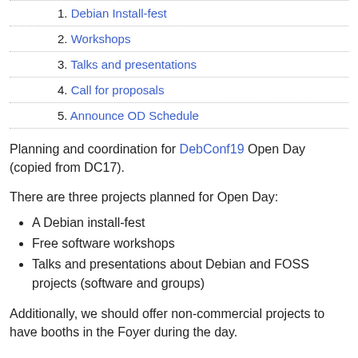1. Debian Install-fest
2. Workshops
3. Talks and presentations
4. Call for proposals
5. Announce OD Schedule
Planning and coordination for DebConf19 Open Day (copied from DC17).
There are three projects planned for Open Day:
A Debian install-fest
Free software workshops
Talks and presentations about Debian and FOSS projects (software and groups)
Additionally, we should offer non-commercial projects to have booths in the Foyer during the day.